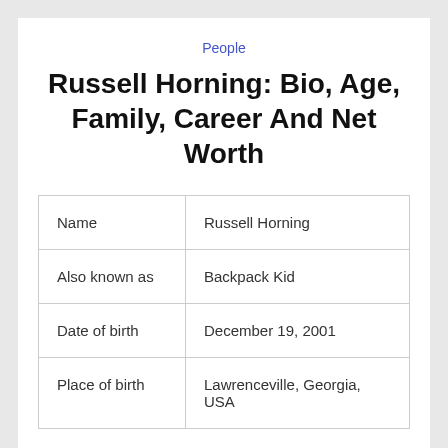People
Russell Horning: Bio, Age, Family, Career And Net Worth
| Name | Russell Horning |
| Also known as | Backpack Kid |
| Date of birth | December 19, 2001 |
| Place of birth | Lawrenceville, Georgia, USA |